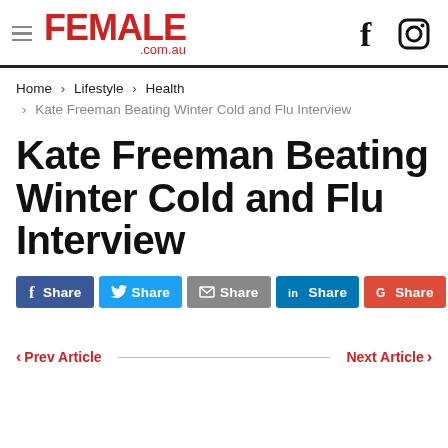FEMALE .com.au
Home › Lifestyle › Health
› Kate Freeman Beating Winter Cold and Flu Interview
Kate Freeman Beating Winter Cold and Flu Interview
f Share  Share  Share  in Share  G Share
‹ Prev Article    Next Article ›